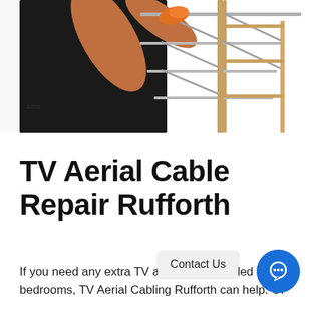[Figure (photo): A person in a black t-shirt working on a TV aerial antenna mounted on a wooden frame structure, on a white background. The person is using tools on the orange/amber aerial component.]
TV Aerial Cable Repair Rufforth
If you need any extra TV aerial points added to bedrooms, TV Aerial Cabling Rufforth can help. Or